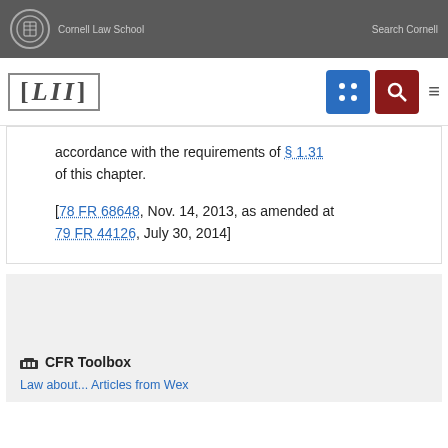Cornell Law School | Search Cornell
[Figure (logo): LII Legal Information Institute logo with navigation icons (grid and search buttons) and hamburger menu]
accordance with the requirements of § 1.31 of this chapter.
[78 FR 68648, Nov. 14, 2013, as amended at 79 FR 44126, July 30, 2014]
CFR Toolbox